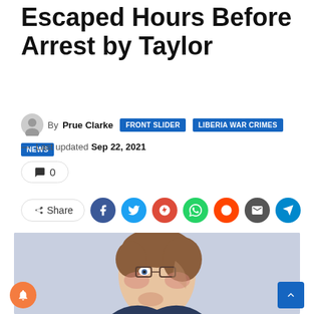Witness: Massaquoi Escaped Hours Before Arrest by Taylor
By Prue Clarke — Last updated Sep 22, 2021
FRONT SLIDER | LIBERIA WAR CRIMES | NEWS
0 comments
Share
[Figure (illustration): Courtroom sketch illustration of a man with brown hair and glasses, hand raised to chin in a pensive pose, wearing a dark jacket.]